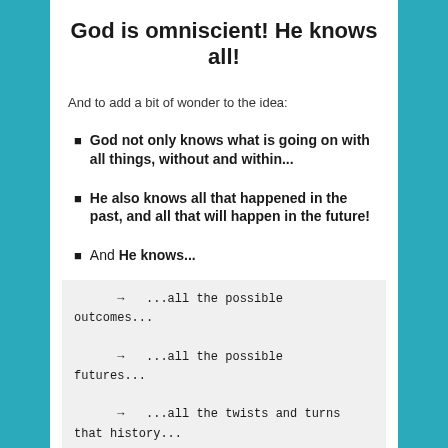God is omniscient! He knows all!
And to add a bit of wonder to the idea:
God not only knows what is going on with all things, without and within...
He also knows all that happened in the past, and all that will happen in the future!
And He knows...
→   ...all the possible outcomes...

→   ...all the possible futures...

→   ...all the twists and turns that history...